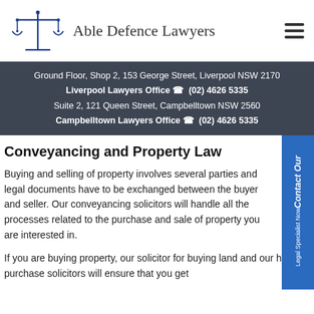[Figure (logo): Able Defence Lawyers logo with scales of justice icon and firm name]
Ground Floor, Shop 2, 153 George Street, Liverpool NSW 2170
Liverpool Lawyers Office (02) 4626 5335
Suite 2, 121 Queen Street, Campbelltown NSW 2560
Campbelltown Lawyers Office (02) 4626 5335
Conveyancing and Property Law
Buying and selling of property involves several parties and legal documents have to be exchanged between the buyer and seller. Our conveyancing solicitors will handle all the processes related to the purchase and sale of property you are interested in.
If you are buying property, our solicitor for buying land and our house purchase solicitors will ensure that you get